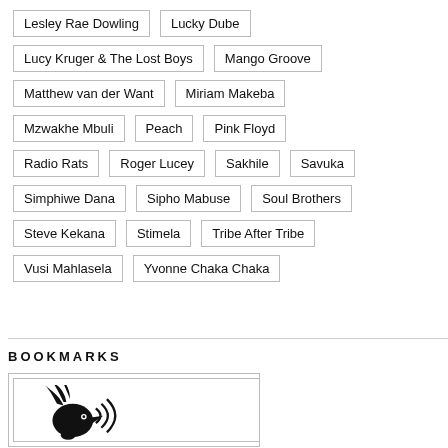Lesley Rae Dowling
Lucky Dube
Lucy Kruger & The Lost Boys
Mango Groove
Matthew van der Want
Miriam Makeba
Mzwakhe Mbuli
Peach
Pink Floyd
Radio Rats
Roger Lucey
Sakhile
Savuka
Simphiwe Dana
Sipho Mabuse
Soul Brothers
Steve Kekana
Stimela
Tribe After Tribe
Vusi Mahlasela
Yvonne Chaka Chaka
BOOKMARKS
[Figure (logo): Black and white logo featuring a stylized bird/rooster head with radiating lines, resembling a gramophone or sound waves]